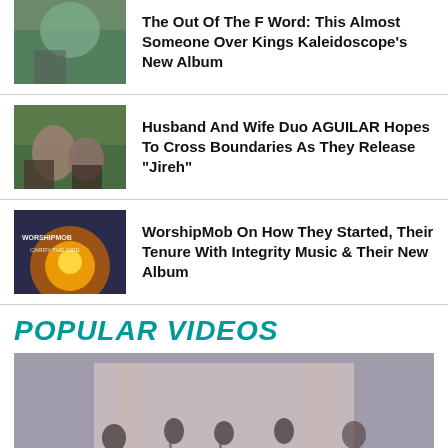The Out Of The F Word: This Almost Someone Over Kings Kaleidoscope's New Album
Husband And Wife Duo AGUILAR Hopes To Cross Boundaries As They Release "Jireh"
WorshipMob On How They Started, Their Tenure With Integrity Music & Their New Album
POPULAR VIDEOS
[Figure (photo): A video thumbnail showing musicians performing in a church or concert hall setting]